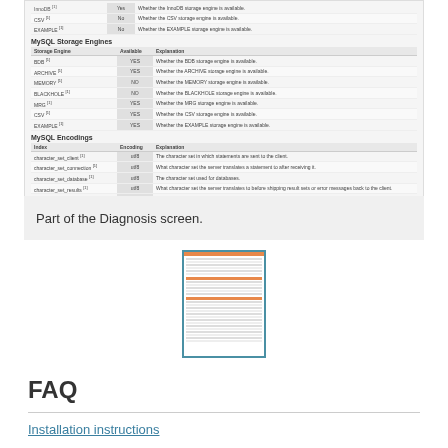[Figure (screenshot): Screenshot of MySQL Diagnosis screen showing MySQL Storage Engines table and MySQL Encodings table with columns for Storage Engine/Index, Encoding/Count, and Explanation]
Part of the Diagnosis screen.
[Figure (screenshot): Thumbnail image of a diagnosis/settings screen document page]
FAQ
Installation instructions